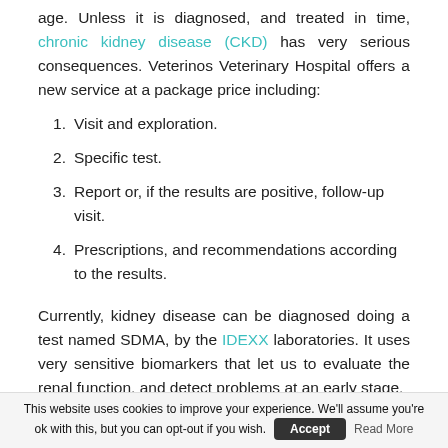age. Unless it is diagnosed, and treated in time, chronic kidney disease (CKD) has very serious consequences. Veterinos Veterinary Hospital offers a new service at a package price including:
1. Visit and exploration.
2. Specific test.
3. Report or, if the results are positive, follow-up visit.
4. Prescriptions, and recommendations according to the results.
Currently, kidney disease can be diagnosed doing a test named SDMA, by the IDEXX laboratories. It uses very sensitive biomarkers that let us to evaluate the renal function, and detect problems at an early stage.
This website uses cookies to improve your experience. We'll assume you're ok with this, but you can opt-out if you wish. Accept  Read More